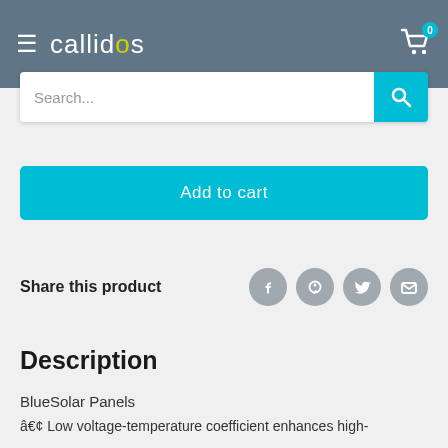callidus — navigation header with hamburger menu, logo, and cart (0)
Search...
Add to cart
Share this product
Description
BlueSolar Panels
• Low voltage-temperature coefficient enhances high-temperature performance